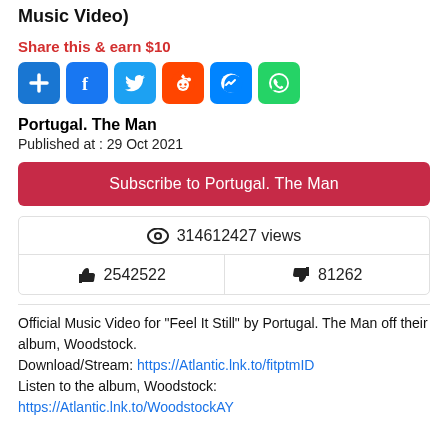Music Video)
Share this & earn $10
[Figure (infographic): Social sharing icons: plus/add (blue), Facebook (blue), Twitter (light blue), Reddit (orange), Messenger (blue), WhatsApp (green)]
Portugal. The Man
Published at : 29 Oct 2021
Subscribe to Portugal. The Man
| 👁 314612427 views |
| 👍 2542522 | 👎 81262 |
Official Music Video for "Feel It Still" by Portugal. The Man off their album, Woodstock.
Download/Stream: https://Atlantic.lnk.to/fitptmID
Listen to the album, Woodstock:
https://Atlantic.lnk.to/WoodstockAY